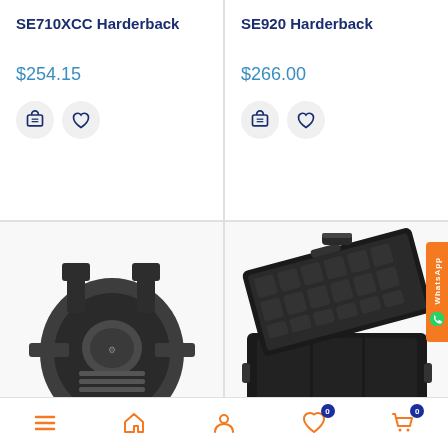SE710XCC Harderback
$254.15
SE920 Harderback
$266.00
[Figure (photo): Black knee pad / chest protector with straps]
[Figure (photo): Black hard case open showing foam interior and dividers]
Navigation bar with menu, home, user, wishlist (0), cart (0) icons